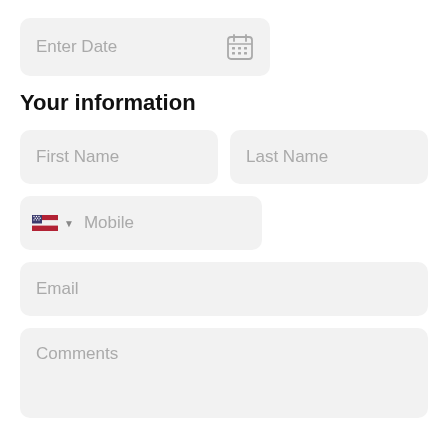[Figure (screenshot): Date input field with placeholder 'Enter Date' and calendar icon on the right]
Your information
[Figure (screenshot): First Name input field]
[Figure (screenshot): Last Name input field]
[Figure (screenshot): Mobile phone input field with country flag selector]
[Figure (screenshot): Email input field]
[Figure (screenshot): Comments textarea]